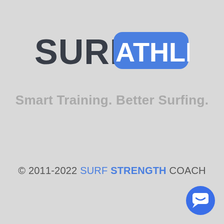[Figure (logo): SurfAthlete logo: 'SURF' in dark gray bold text followed by 'ATHLETE' in white bold text on a blue rounded rectangle background]
Smart Training. Better Surfing.
© 2011-2022 SURF STRENGTH COACH
[Figure (illustration): Blue circular chat/message bubble icon in the bottom right corner]